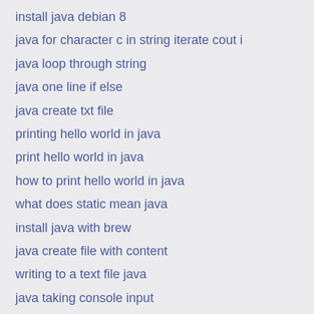install java debian 8
java for character c in string iterate cout i
java loop through string
java one line if else
java create txt file
printing hello world in java
print hello world in java
how to print hello world in java
what does static mean java
install java with brew
java create file with content
writing to a text file java
java taking console input
java Date get today date